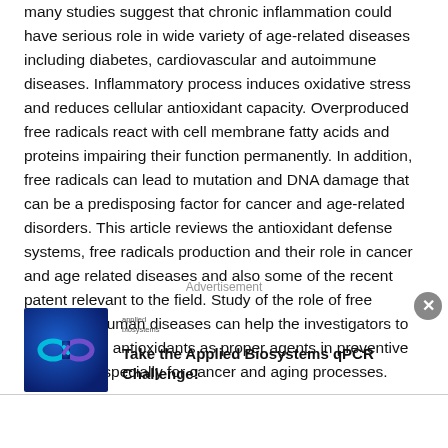many studies suggest that chronic inflammation could have serious role in wide variety of age-related diseases including diabetes, cardiovascular and autoimmune diseases. Inflammatory process induces oxidative stress and reduces cellular antioxidant capacity. Overproduced free radicals react with cell membrane fatty acids and proteins impairing their function permanently. In addition, free radicals can lead to mutation and DNA damage that can be a predisposing factor for cancer and age-related disorders. This article reviews the antioxidant defense systems, free radicals production and their role in cancer and age related diseases and also some of the recent patent relevant to the field. Study of the role of free radicals in human diseases can help the investigators to consider the antioxidants as proper agents in preventive medicine, especially for cancer and aging processes.
Advertisement
[Figure (illustration): Applied Biosystems advertisement with blue infinity symbol logo image on the left and text on the right with the Applied Biosystems logo and headline 'Take the Applied Biosystems qPCR Challenge!']